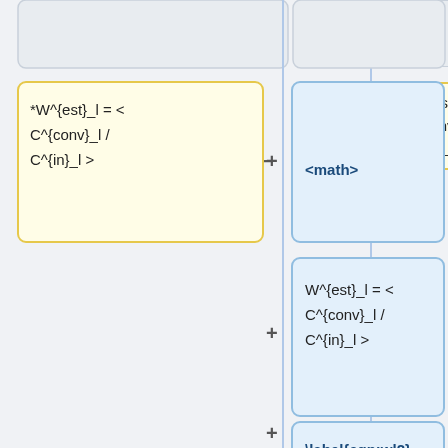[Figure (flowchart): Document comparison flowchart showing LaTeX source boxes and rendered math boxes side by side with plus/minus connectors. Yellow highlighted box contains '*W^{est}_l = < C^{conv}_l / C^{in}_l >' and blue boxes contain '<math>', 'W^{est}_l = < C^{conv}_l / C^{in}_l >', and '\label{eqn:wl2} </math>'. Gray empty boxes and white text boxes with 'For subtle reasons, we perform a more rigorous estimation of the window function by comparing C^{conv}_l with convolved power' appear at bottom.]